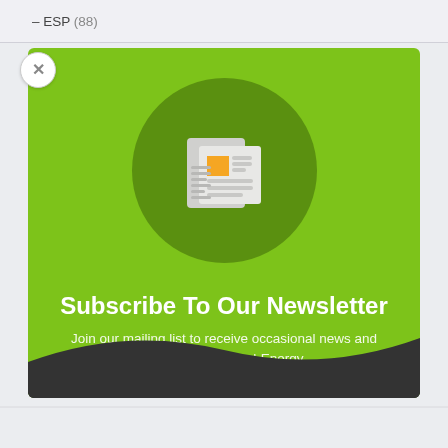– ESP (88)
[Figure (screenshot): Newsletter subscription popup card with green background, dark green circle containing a newspaper/document icon, subscribe title and subtitle text, and a dark wave footer section]
Subscribe To Our Newsletter
Join our mailing list to receive occasional news and updates from Mind-Energy